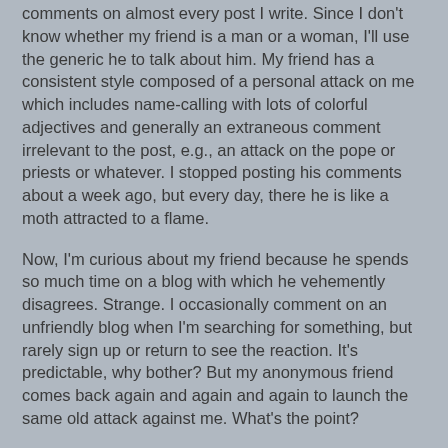comments on almost every post I write. Since I don't know whether my friend is a man or a woman, I'll use the generic he to talk about him. My friend has a consistent style composed of a personal attack on me which includes name-calling with lots of colorful adjectives and generally an extraneous comment irrelevant to the post, e.g., an attack on the pope or priests or whatever. I stopped posting his comments about a week ago, but every day, there he is like a moth attracted to a flame.
Now, I'm curious about my friend because he spends so much time on a blog with which he vehemently disagrees. Strange. I occasionally comment on an unfriendly blog when I'm searching for something, but rarely sign up or return to see the reaction. It's predictable, why bother? But my anonymous friend comes back again and again and again to launch the same old attack against me. What's the point?
Awhile back I decided to pray a Hail Mary or a Memorare for him whenever he leaves a comment.
Mary Ann Kreitzer at 9:53 AM    10 comments: